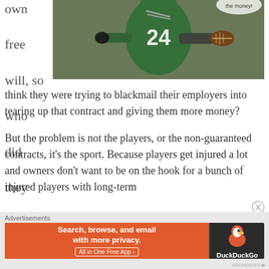own free will, so who did they
[Figure (photo): NFL player wearing green jersey number 24, holding a football with one arm outstretched, with a speech bubble partially visible at top right saying 'the money!']
think they were trying to blackmail their employers into tearing up that contract and giving them more money?

But the problem is not the players, or the non-guaranteed contracts, it's the sport. Because players get injured a lot and owners don't want to be on the hook for a bunch of injured players with long-term
Advertisements
[Figure (screenshot): DuckDuckGo advertisement banner: orange left section reading 'Search, browse, and email with more privacy. All in One Free App' and dark right section with DuckDuckGo duck logo and text 'DuckDuckGo']